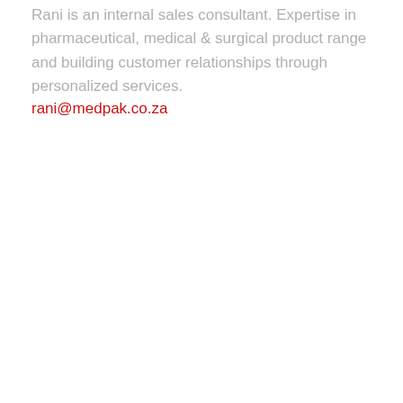Rani is an internal sales consultant. Expertise in pharmaceutical, medical & surgical product range and building customer relationships through personalized services.
rani@medpak.co.za